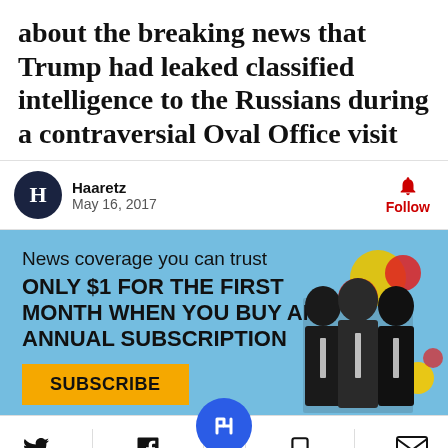about the breaking news that Trump had leaked classified intelligence to the Russians during a contraversial Oval Office visit
Haaretz
May 16, 2017
[Figure (infographic): Haaretz subscription advertisement banner with blue background, headline 'News coverage you can trust / ONLY $1 FOR THE FIRST MONTH WHEN YOU BUY AN ANNUAL SUBSCRIPTION', SUBSCRIBE button, and illustration of three political figures with colorful circles]
[Figure (infographic): Social sharing toolbar with Twitter, Facebook, Haaretz logo (blue circle), bookmark, and email icons]
[Figure (infographic): Petco advertisement: 'Your Pet's Summer Essentials / Petco']